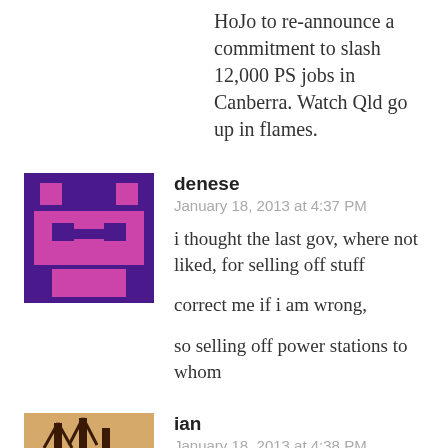HoJo to re-announce a commitment to slash 12,000 PS jobs in Canberra. Watch Qld go up in flames.
denese
January 18, 2013 at 4:37 PM

i thought the last gov, where not liked, for selling off stuff

correct me if i am wrong,

so selling off power stations to whom
ian
January 18, 2013 at 4:38 PM